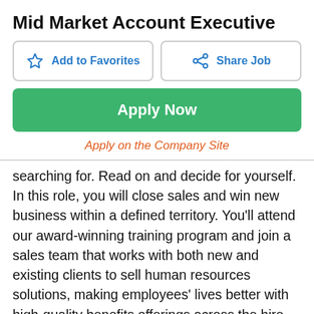Mid Market Account Executive
Add to Favorites
Share Job
Apply Now
Apply on the Company Site
searching for. Read on and decide for yourself. In this role, you will close sales and win new business within a defined territory. You'll attend our award-winning training program and join a sales team that works with both new and existing clients to sell human resources solutions, making employees' lives better with high-quality benefits offerings across the hire-to-retire spectrum. Daily, you will cultivate relationships with Human Resources and executive decision-makers, set